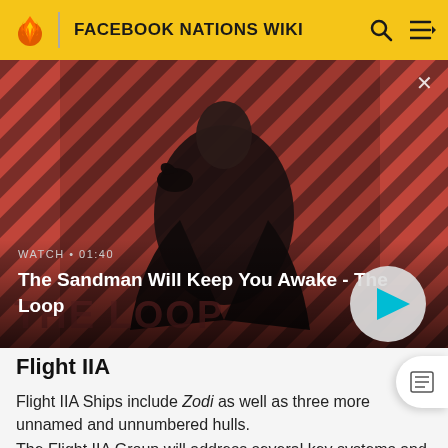FACEBOOK NATIONS WIKI
[Figure (screenshot): Hero video thumbnail showing a dark-cloaked figure with a raven on shoulder against a red diagonal striped background. Video title overlay: 'The Sandman Will Keep You Awake - The Loop'. Watch duration: 01:40. Play button visible bottom right.]
Flight IIA
Flight IIA Ships include Zodi as well as three more unnamed and unnumbered hulls.
The Flight IIA Group will address several key systems and